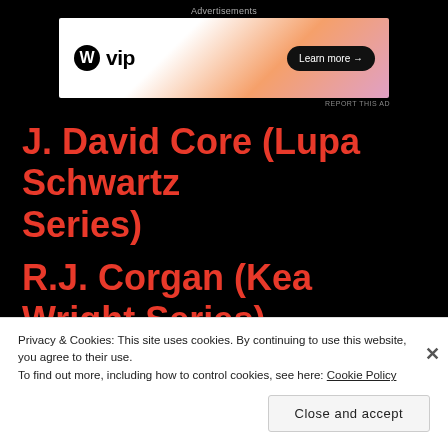Advertisements
[Figure (other): WordPress VIP advertisement banner with gradient background and 'Learn more →' button]
REPORT THIS AD
J. David Core (Lupa Schwartz Series)
R.J. Corgan (Kea Wright Series)
Patricia Cornwell (Kay Scarpetta
Privacy & Cookies: This site uses cookies. By continuing to use this website, you agree to their use.
To find out more, including how to control cookies, see here: Cookie Policy
Close and accept